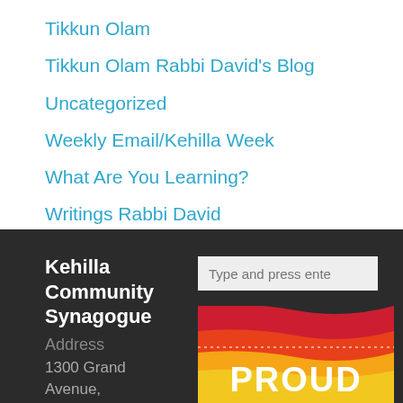Tikkun Olam
Tikkun Olam Rabbi David's Blog
Uncategorized
Weekly Email/Kehilla Week
What Are You Learning?
Writings Rabbi David
Kehilla Community Synagogue
Address
1300 Grand Avenue,
[Figure (illustration): Colorful wavy pride-themed image with the word PROUD in white bold text on a red, orange, yellow, green gradient background with a dotted border line across the middle]